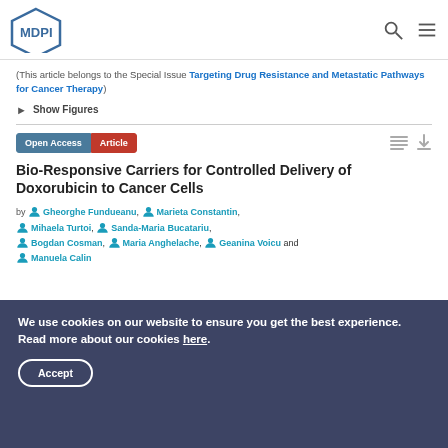MDPI
(This article belongs to the Special Issue Targeting Drug Resistance and Metastatic Pathways for Cancer Therapy)
► Show Figures
Open Access  Article
Bio-Responsive Carriers for Controlled Delivery of Doxorubicin to Cancer Cells
by Gheorghe Fundueanu, Marieta Constantin, Mihaela Turtoi, Sanda-Maria Bucatariu, Bogdan Cosman, Maria Anghelache, Geanina Voicu and Manuela Calin
We use cookies on our website to ensure you get the best experience. Read more about our cookies here.